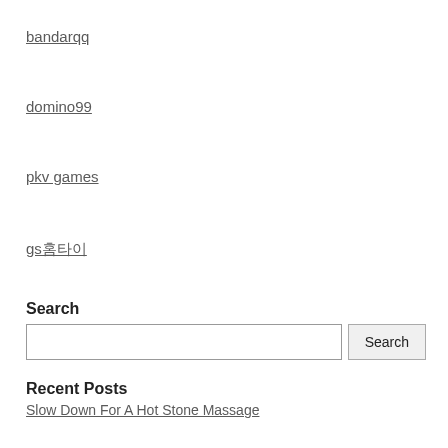bandarqq
domino99
pkv games
gs홈타이
Search
Recent Posts
Slow Down For A Hot Stone Massage